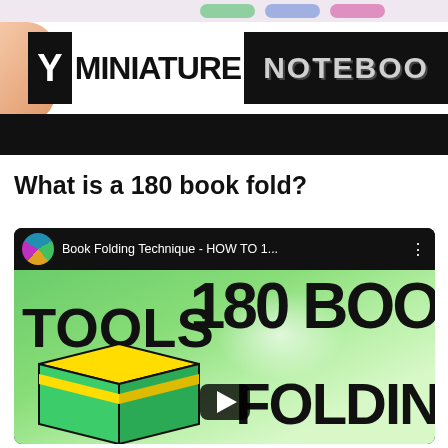[Figure (screenshot): YouTube video thumbnail for a DIY Miniature Notebook craft video — shows the text 'Y MINIATURE NOTEBOO' with a finger in the background and a black bar below]
What is a 180 book fold?
[Figure (screenshot): YouTube video embed showing 'Book Folding Technique - HOW TO 1...' with a channel icon and a thumbnail showing 'TOOLS' and '180 BOO FOLDIN' text on a green background with a book/box illustration and play button]